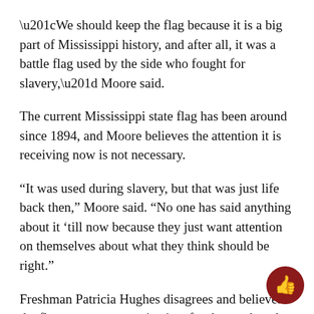“We should keep the flag because it is a big part of Mississippi history, and after all, it was a battle flag used by the side who fought for slavery,” Moore said.
The current Mississippi state flag has been around since 1894, and Moore believes the attention it is receiving now is not necessary.
“It was used during slavery, but that was just life back then,” Moore said. “No one has said anything about it ‘till now because they just want attention on themselves about what they think should be right.”
Freshman Patricia Hughes disagrees and believes the flag represents a racist time for the south and should be removed.